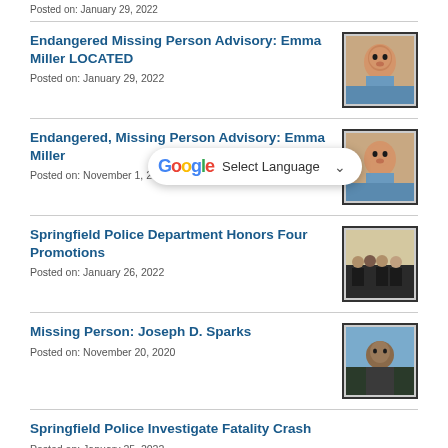Posted on: January 29, 2022
Endangered Missing Person Advisory: Emma Miller LOCATED
Posted on: January 29, 2022
[Figure (photo): Photo of infant Emma Miller]
Endangered, Missing Person Advisory: Emma Miller
Posted on: November 1, 2021
[Figure (photo): Photo of infant Emma Miller]
Springfield Police Department Honors Four Promotions
Posted on: January 26, 2022
[Figure (photo): Photo of Springfield Police officers standing together]
Missing Person: Joseph D. Sparks
Posted on: November 20, 2020
[Figure (photo): Photo of Joseph D. Sparks, a man outdoors]
Springfield Police Investigate Fatality Crash
Posted on: January 25, 2022